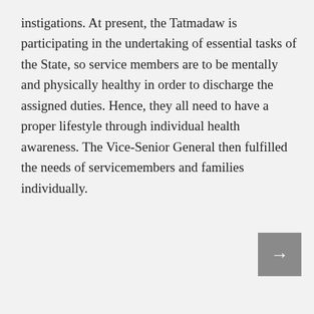instigations. At present, the Tatmadaw is participating in the undertaking of essential tasks of the State, so service members are to be mentally and physically healthy in order to discharge the assigned duties. Hence, they all need to have a proper lifestyle through individual health awareness. The Vice-Senior General then fulfilled the needs of servicemembers and families individually.